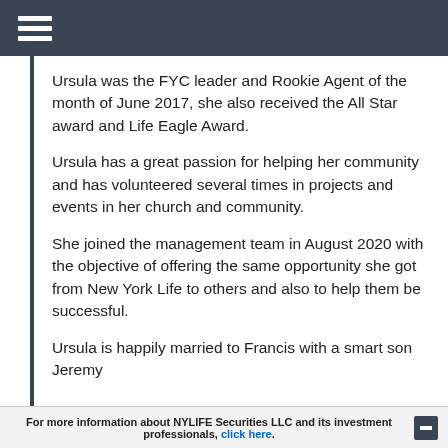Ursula was the FYC leader and Rookie Agent of the month of June 2017, she also received the All Star award and Life Eagle Award.
Ursula has a great passion for helping her community and has volunteered several times in projects and events in her church and community.
She joined the management team in August 2020 with the objective of offering the same opportunity she got from New York Life to others and also to help them be successful.
Ursula is happily married to Francis with a smart son Jeremy
For more information about NYLIFE Securities LLC and its investment professionals, click here.